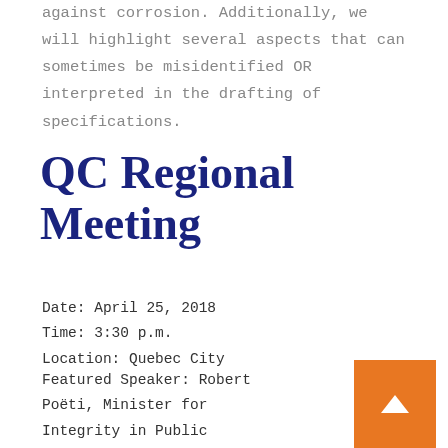against corrosion. Additionally, we will highlight several aspects that can sometimes be misidentified OR interpreted in the drafting of specifications.
QC Regional Meeting
Date: April 25, 2018
Time: 3:30 p.m.
Location: Quebec City
Featured Speaker: Robert Poëti, Minister for Integrity in Public Procurement and for Information Resources